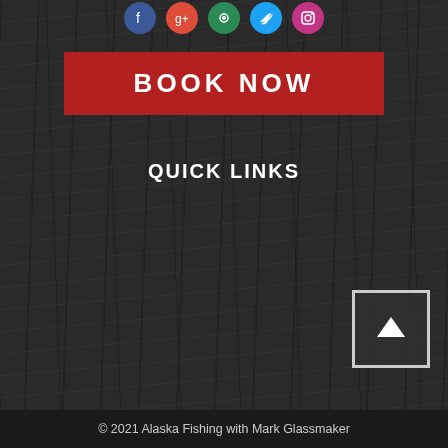[Figure (other): Row of social media icon circles: Facebook (blue), Google+ (red), YouTube/other (green), Twitter (blue), Instagram (pink/purple)]
BOOK NOW
QUICK LINKS
· ALASKA FISHING GUIDES  · ALASKA FISHING TRIPS
· PLANNING AN ALASKA FISHING TRIP
· OUR ALASKA FISHING GUIDES
· ALASKA FISHING & LODGING
· ALASKA FISHING & LODGING RATES
© 2021 Alaska Fishing with Mark Glassmaker